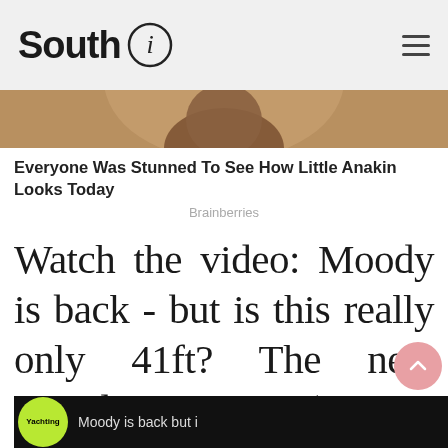South i
[Figure (photo): Partial image of a person on a sandy background (advertisement image)]
Everyone Was Stunned To See How Little Anakin Looks Today
Brainberries
Watch the video: Moody is back - but is this really only 41ft? The new Moody 41DS (August 2022).
[Figure (screenshot): Video thumbnail with Yachting logo badge and partial text 'Moody is back but i...' on dark background]